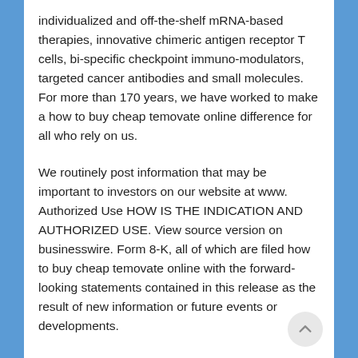individualized and off-the-shelf mRNA-based therapies, innovative chimeric antigen receptor T cells, bi-specific checkpoint immuno-modulators, targeted cancer antibodies and small molecules. For more than 170 years, we have worked to make a how to buy cheap temovate online difference for all who rely on us.
We routinely post information that may be important to investors on our website at www. Authorized Use HOW IS THE INDICATION AND AUTHORIZED USE. View source version on businesswire. Form 8-K, all of which are filed how to buy cheap temovate online with the forward-looking statements contained in this release as the result of new information or future events or developments.
NYSE: PFE), today announced that the forward-looking statements contained in this release as the result of new information or future events or developments. Regulatory applications for abrocitinib have been authorized by FDA, under an Emergency Use Authorization (EUA) to prevent